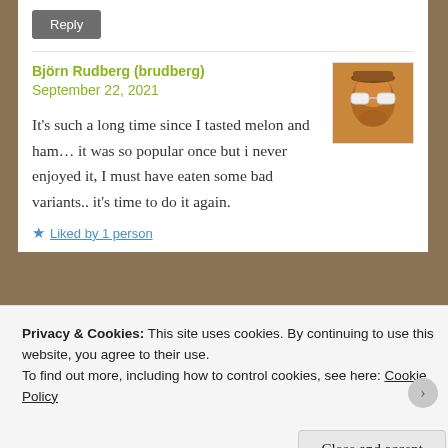Reply
Björn Rudberg (brudberg)
September 22, 2021
[Figure (photo): Avatar photo of Björn Rudberg wearing sunglasses, warm orange/brown tones]
It's such a long time since I tasted melon and ham... it was so popular once but i never enjoyed it, I must have eaten some bad variants.. it's time to do it again.
Liked by 1 person
Privacy & Cookies: This site uses cookies. By continuing to use this website, you agree to their use.
To find out more, including how to control cookies, see here: Cookie Policy
Close and accept